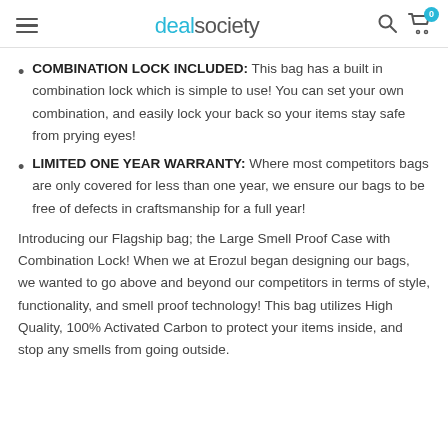dealsociety
COMBINATION LOCK INCLUDED: This bag has a built in combination lock which is simple to use! You can set your own combination, and easily lock your back so your items stay safe from prying eyes!
LIMITED ONE YEAR WARRANTY: Where most competitors bags are only covered for less than one year, we ensure our bags to be free of defects in craftsmanship for a full year!
Introducing our Flagship bag; the Large Smell Proof Case with Combination Lock! When we at Erozul began designing our bags, we wanted to go above and beyond our competitors in terms of style, functionality, and smell proof technology! This bag utilizes High Quality, 100% Activated Carbon to protect your items inside, and stop any smells from going outside.